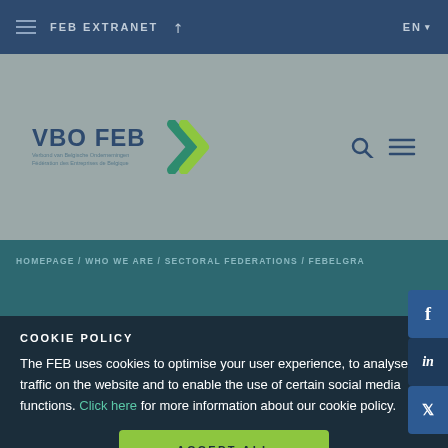FEB EXTRANET ↗   EN
[Figure (logo): VBO FEB logo with double arrow chevron graphic in green and teal, with subtitle text in Dutch and French]
HOMEPAGE / WHO WE ARE / SECTORAL FEDERATIONS / FEBELGRA
COOKIE POLICY
The FEB uses cookies to optimise your user experience, to analyse traffic on the website and to enable the use of certain social media functions. Click here for more information about our cookie policy.
ACCEPT ALL COOKIES
Cookie management